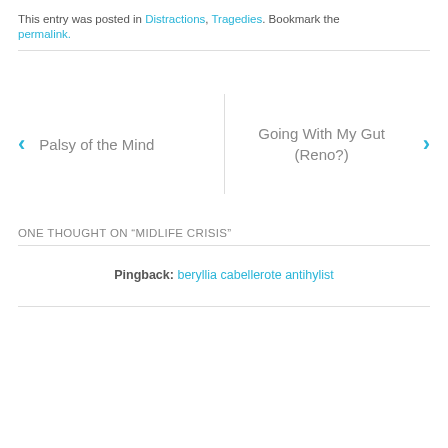This entry was posted in Distractions, Tragedies. Bookmark the permalink.
← Palsy of the Mind   |   Going With My Gut (Reno?) →
ONE THOUGHT ON "MIDLIFE CRISIS"
Pingback: beryllia cabellerote antihylist